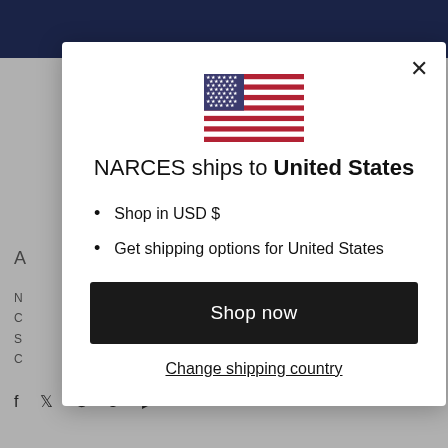[Figure (illustration): US flag SVG illustration centered in modal]
NARCES ships to United States
Shop in USD $
Get shipping options for United States
Shop now
Change shipping country